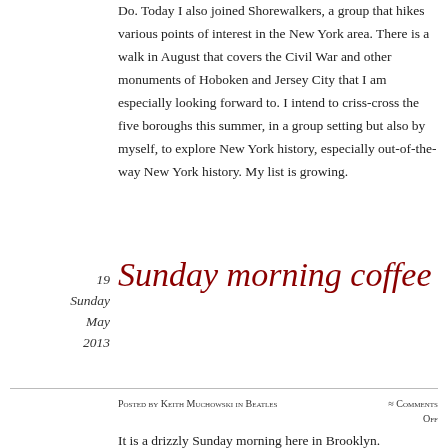Do. Today I also joined Shorewalkers, a group that hikes various points of interest in the New York area. There is a walk in August that covers the Civil War and other monuments of Hoboken and Jersey City that I am especially looking forward to. I intend to criss-cross the five boroughs this summer, in a group setting but also by myself, to explore New York history, especially out-of-the-way New York history. My list is growing.
19
Sunday
May
2013
Sunday morning coffee
Posted by Keith Muchowski in Beatles ≈ Comments Off
It is a drizzly Sunday morning here in Brooklyn.